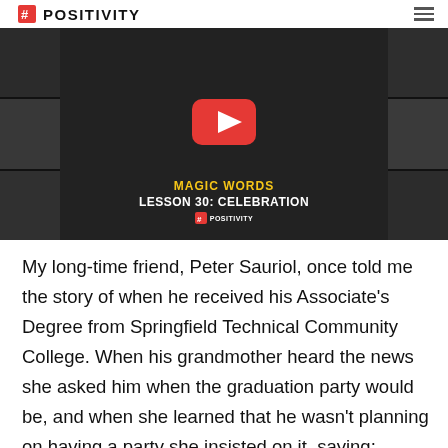# POSITIVITY
[Figure (screenshot): YouTube video thumbnail showing two men in conversation, black and white portrait grid on sides, red YouTube play button in center, text 'MAGIC WORDS / LESSON 30: CELEBRATION / #POSITIVITY' at bottom]
My long-time friend, Peter Sauriol, once told me the story of when he received his Associate's Degree from Springfield Technical Community College. When his grandmother heard the news she asked him when the graduation party would be, and when she learned that he wasn't planning on having a party she insisted on it, saying: